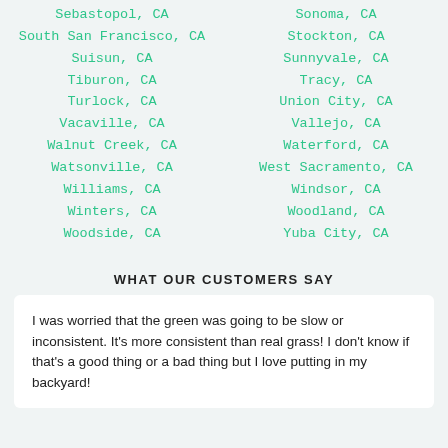Sebastopol, CA
Sonoma, CA
South San Francisco, CA
Stockton, CA
Suisun, CA
Sunnyvale, CA
Tiburon, CA
Tracy, CA
Turlock, CA
Union City, CA
Vacaville, CA
Vallejo, CA
Walnut Creek, CA
Waterford, CA
Watsonville, CA
West Sacramento, CA
Williams, CA
Windsor, CA
Winters, CA
Woodland, CA
Woodside, CA
Yuba City, CA
WHAT OUR CUSTOMERS SAY
I was worried that the green was going to be slow or inconsistent. It's more consistent than real grass! I don't know if that's a good thing or a bad thing but I love putting in my backyard!